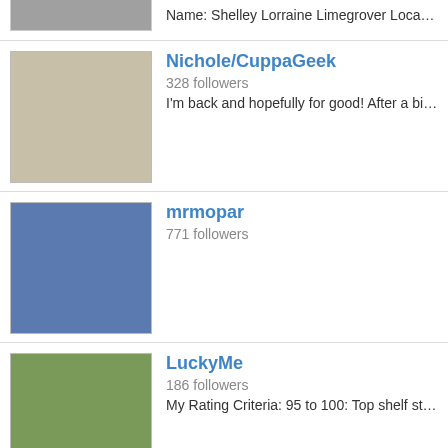Name: Shelley Lorraine Limegrover Location: Thornton, Colorado [partial, cropped]
Nichole/CuppaGeek — 328 followers — I'm back and hopefully for good! After a bit of a hiatus, I want to get [cropped]
mrmopar — 771 followers
LuckyMe — 186 followers — My Rating Criteria: 95 to 100: Top shelf stuff. Loved this tea and hig [cropped]
Liquid Proust — 630 followers — Tea Enthusiast / Tea Drunk . https://www.etsy.com/shop/LiquidProus [cropped]
Oolong Owl — 766 followers — I'm a tea blogger – The Oolong Owl www.OolongOwl.com – I do tea [cropped]
caile [partial, cropped]